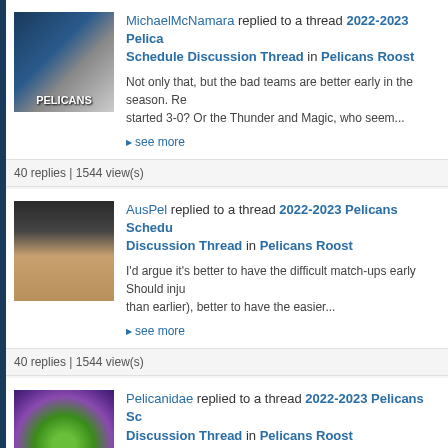MichaelMcNamara replied to a thread 2022-2023 Pelicans Schedule Discussion Thread in Pelicans Roost
Not only that, but the bad teams are better early in the season. Re started 3-0? Or the Thunder and Magic, who seem...
▶ see more
40 replies | 1544 view(s)
AusPel replied to a thread 2022-2023 Pelicans Schedule Discussion Thread in Pelicans Roost
I'd argue it's better to have the difficult match-ups early Should inju than earlier), better to have the easier...
▶ see more
40 replies | 1544 view(s)
Pelicanidae replied to a thread 2022-2023 Pelicans Schedule Discussion Thread in Pelicans Roost
Meanwhile the Pels start off with a pretty difficult stretch, all things
▶ see more
40 replies | 1544 view(s)